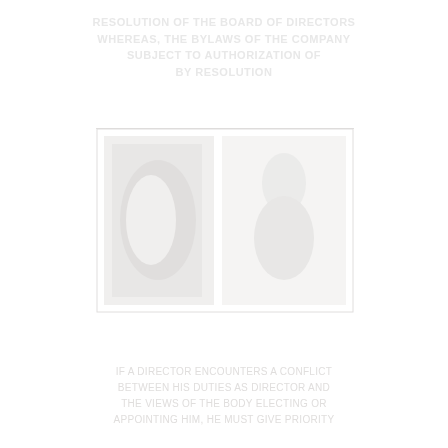RESOLUTION OF THE BOARD OF DIRECTORS
WHEREAS, THE BYLAWS OF THE COMPANY
SUBJECT TO AUTHORIZATION OF
BY RESOLUTION
[Figure (illustration): A faint watermark-style illustration showing what appears to be a decorative letter or seal image, very light gray on white background]
IF A DIRECTOR ENCOUNTERS A CONFLICT
BETWEEN HIS DUTIES AS DIRECTOR AND
THE VIEWS OF THE BODY ELECTING OR
APPOINTING HIM, HE MUST GIVE PRIORITY